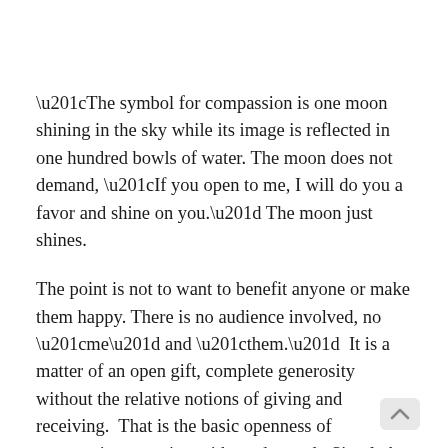“The symbol for compassion is one moon shining in the sky while its image is reflected in one hundred bowls of water. The moon does not demand, “If you open to me, I will do you a favor and shine on you.” The moon just shines.
The point is not to want to benefit anyone or make them happy. There is no audience involved, no “me” and “them.”  It is a matter of an open gift, complete generosity without the relative notions of giving and receiving.  That is the basic openness of compassion: opening without demand.  Simply be what you are. Be the master of the situation. If you will just “be,” then life flows around and through you.”
Chogyam Trungpa